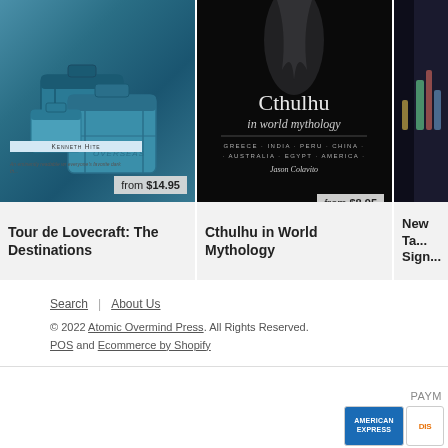[Figure (illustration): Book cover for 'Tour de Lovecraft: The Destinations' by Kenneth Hite, showing teal/blue vintage luggage, with price badge 'from $14.95']
[Figure (illustration): Book cover for 'Cthulhu in World Mythology' by Jason Colavito, dark background with Cthulhu figure and subtitle 'Greece · India · Peru · China · Australia · Egypt · America', with price badge 'from $8.95']
[Figure (illustration): Partial book cover (third product, cropped), dark background]
Tour de Lovecraft: The Destinations
Cthulhu in World Mythology
New Ta... Sign...
Search  |  About Us
© 2022 Atomic Overmind Press. All Rights Reserved.
POS and Ecommerce by Shopify
PAYM...
[Figure (illustration): American Express payment card logo icon]
[Figure (illustration): Discover payment card logo icon (partial)]